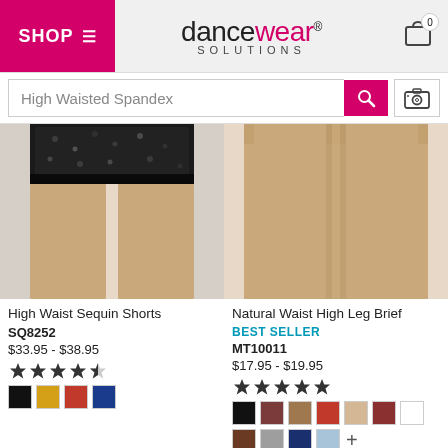Dancewear Solutions — SHOP navigation header
High Waisted Spandex (search query)
[Figure (photo): Product photo of High Waist Sequin Shorts — close-up of person wearing black sequin shorts]
High Waist Sequin Shorts
SQ8252
$33.95 - $38.95
3.5 out of 5 stars rating
Color swatches: black, gold, red, blue
[Figure (photo): Product photo of Natural Waist High Leg Brief — close-up of person wearing nude/beige brief]
Natural Waist High Leg Brief
BEST SELLER
MT10011
$17.95 - $19.95
5 out of 5 stars rating
Color swatches: black, brown, tan, red, beige, darkred, white, walnut, gray, navy, lightblue, and more
[Figure (photo): Bottom left partial product photo — person with brown hair, product not fully visible]
[Figure (photo): Bottom right partial product photo — dark background with black garment]